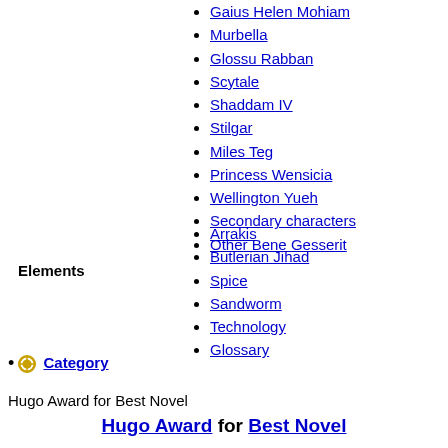Gaius Helen Mohiam
Murbella
Glossu Rabban
Scytale
Shaddam IV
Stilgar
Miles Teg
Princess Wensicia
Wellington Yueh
Secondary characters
Other Bene Gesserit
Elements
Arrakis
Butlerian Jihad
Spice
Sandworm
Technology
Glossary
Category
Hugo Award for Best Novel
Hugo Award for Best Novel
The Sword in the Stone by T. H. White (1939)
Slan by A. E. van Vogt (1941)